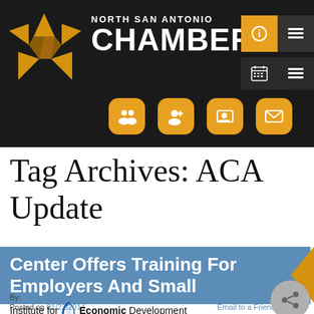[Figure (logo): North San Antonio Chamber logo with gold star and white text on dark background, plus navigation icon buttons]
Tag Archives: ACA Update
Center Offers Training For Employers And Small
By: North SA Chamber Editor
Posted on 01/22/2014
Email to a Friend
[Figure (logo): Institute for Economic Development logo with blue swoosh]
The